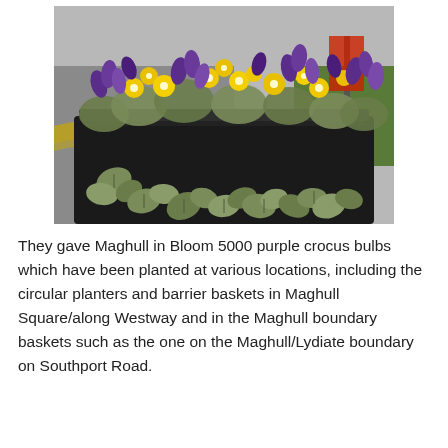[Figure (photo): A black rectangular planter/barrier basket filled with purple crocus and yellow flowers, with trailing ivy, positioned along a street with a yellow kerb line visible in the background.]
They gave Maghull in Bloom 5000 purple crocus bulbs which have been planted at various locations, including the circular planters and barrier baskets in Maghull Square/along Westway and in the Maghull boundary baskets such as the one on the Maghull/Lydiate boundary on Southport Road.